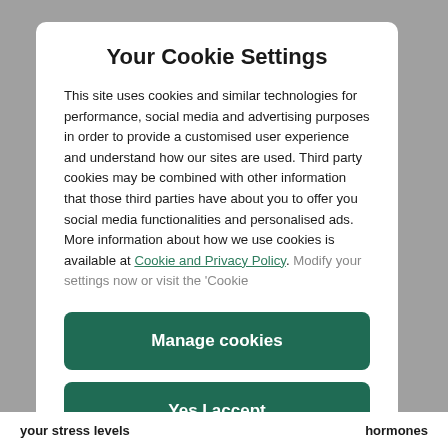Your Cookie Settings
This site uses cookies and similar technologies for performance, social media and advertising purposes in order to provide a customised user experience and understand how our sites are used. Third party cookies may be combined with other information that those third parties have about you to offer you social media functionalities and personalised ads. More information about how we use cookies is available at Cookie and Privacy Policy. Modify your settings now or visit the 'Cookie
Manage cookies
Yes I accept
your stress levels
hormones